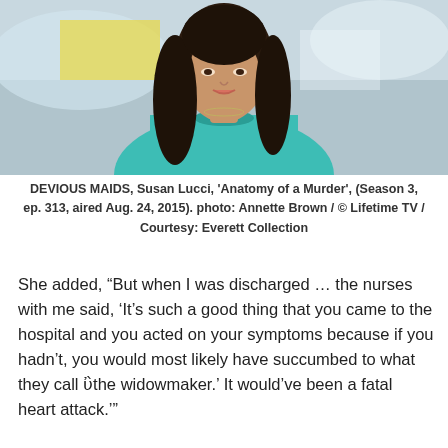[Figure (photo): A woman with long dark hair wearing a teal/mint sleeveless dress with jeweled neckline, photographed from the shoulders up. Background is blurred interior setting.]
DEVIOUS MAIDS, Susan Lucci, 'Anatomy of a Murder', (Season 3, ep. 313, aired Aug. 24, 2015). photo: Annette Brown / © Lifetime TV / Courtesy: Everett Collection
She added, “But when I was discharged … the nurses with me said, ‘It’s such a good thing that you came to the hospital and you acted on your symptoms because if you hadn’t, you would most likely have succumbed to what they call ‘the widowmaker.’ It would’ve been a fatal heart attack.’”